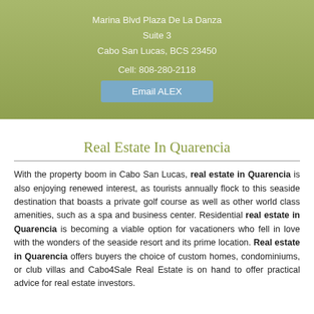Marina Blvd Plaza De La Danza
Suite 3
Cabo San Lucas, BCS 23450
Cell: 808-280-2118
Email ALEX
Real Estate In Quarencia
With the property boom in Cabo San Lucas, real estate in Quarencia is also enjoying renewed interest, as tourists annually flock to this seaside destination that boasts a private golf course as well as other world class amenities, such as a spa and business center. Residential real estate in Quarencia is becoming a viable option for vacationers who fell in love with the wonders of the seaside resort and its prime location. Real estate in Quarencia offers buyers the choice of custom homes, condominiums, or club villas and Cabo4Sale Real Estate is on hand to offer practical advice for real estate investors.